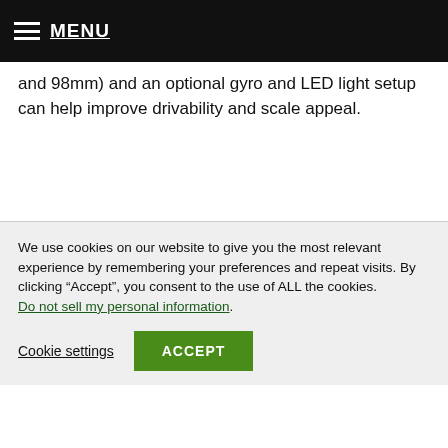MENU
and 98mm) and an optional gyro and LED light setup can help improve drivability and scale appeal.
We use cookies on our website to give you the most relevant experience by remembering your preferences and repeat visits. By clicking “Accept”, you consent to the use of ALL the cookies. Do not sell my personal information.
Cookie settings
ACCEPT